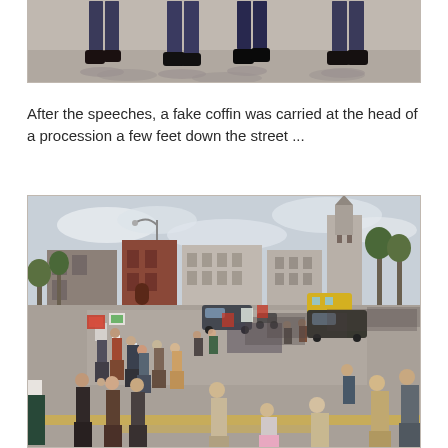[Figure (photo): Cropped photo showing the lower bodies and legs of several people standing on a concrete surface, wearing jeans and dark shoes/sneakers, casting shadows.]
After the speeches, a fake coffin was carried at the head of a procession a few feet down the street ...
[Figure (photo): Aerial/elevated view of a street procession/march with many people carrying signs and banners, walking along an urban street intersection. City buildings, trees, a church tower, and a yellow school bus are visible in the background. The procession stretches far into the distance.]